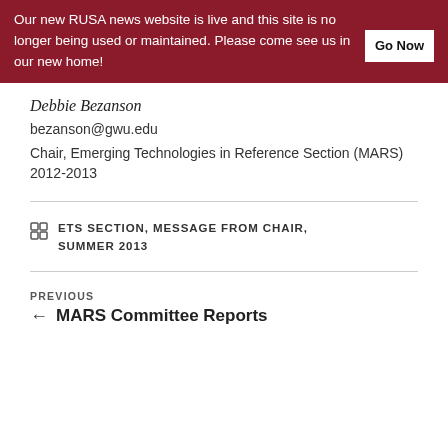Our new RUSA news website is live and this site is no longer being used or maintained. Please come see us in our new home! Go Now
Debbie Bezanson
bezanson@gwu.edu
Chair, Emerging Technologies in Reference Section (MARS) 2012-2013
ETS SECTION, MESSAGE FROM CHAIR, SUMMER 2013
Previous
← MARS Committee Reports